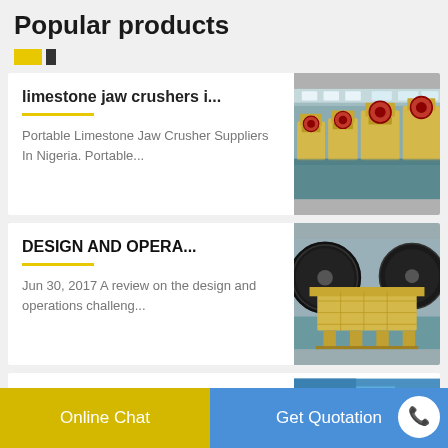Popular products
[Figure (photo): Yellow decorative dots/tabs pagination indicator below title]
limestone jaw crushers i...
Portable Limestone Jaw Crusher Suppliers In Nigeria. Portable...
[Figure (photo): Photo of row of yellow industrial jaw crushers in a factory warehouse]
DESIGN AND OPERA...
Jun 30, 2017 A review on the design and operations challeng...
[Figure (photo): Photo of a single yellow jaw crusher machine with large black flywheels in a factory]
[Figure (photo): Partial photo of industrial machinery with blue coloring, partially visible]
Online Chat
Get Quotation